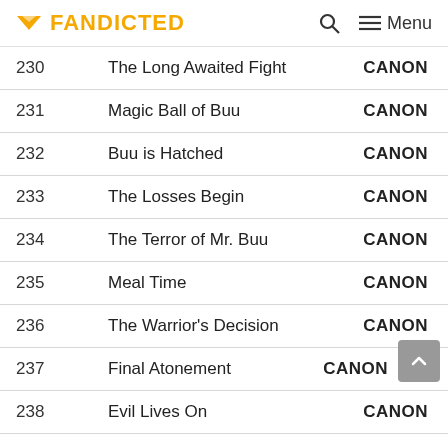FANDICTED   🔍   ≡ Menu
| # | Title | Status |
| --- | --- | --- |
| 230 | The Long Awaited Fight | CANON |
| 231 | Magic Ball of Buu | CANON |
| 232 | Buu is Hatched | CANON |
| 233 | The Losses Begin | CANON |
| 234 | The Terror of Mr. Buu | CANON |
| 235 | Meal Time | CANON |
| 236 | The Warrior's Decision | CANON |
| 237 | Final Atonement | CANON |
| 238 | Evil Lives On | CANON |